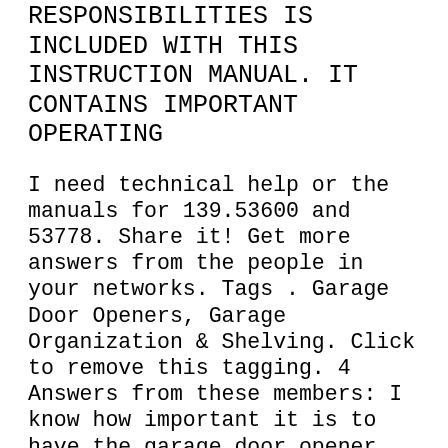RESPONSIBILITIES IS INCLUDED WITH THIS INSTRUCTION MANUAL. IT CONTAINS IMPORTANT OPERATING
I need technical help or the manuals for 139.53600 and 53778. Share it! Get more answers from the people in your networks. Tags . Garage Door Openers, Garage Organization & Shelving. Click to remove this tagging. 4 Answers from these members: I know how important it is to have the garage door opener programmed properly to have access to your garage. I did some research and I was able to find a Description: RUSTGO ALL-TERRAIN - MOBILE - WORK PLATFORM RUSTGO SALES & PARTS 1-800-448-4077 www.rustgo.com or